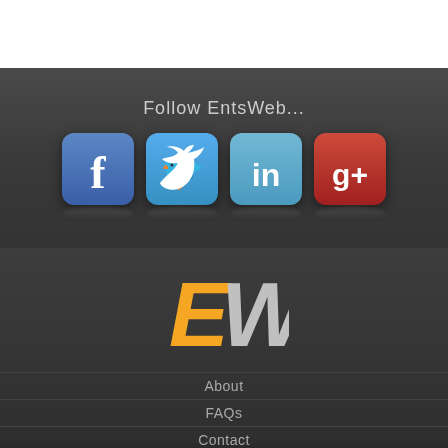Follow EntsWeb...
[Figure (logo): Social media icons: Facebook, Twitter, LinkedIn, Google+]
[Figure (logo): EntsWeb EW logo in orange and grey]
About
FAQs
Contact
[Figure (illustration): Bottom share bar with Facebook, Twitter, email, Pinterest, and plus icons]